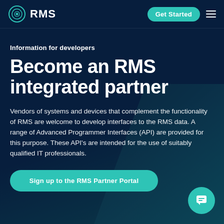RMS — Get Started
Information for developers
Become an RMS integrated partner
Vendors of systems and devices that complement the functionality of RMS are welcome to develop interfaces to the RMS data. A range of Advanced Programmer Interfaces (API) are provided for this purpose. These API's are intended for the use of suitably qualified IT professionals.
Sign up to the RMS Partner Portal